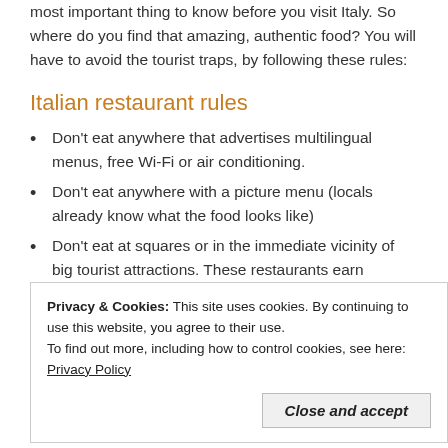most important thing to know before you visit Italy. So where do you find that amazing, authentic food? You will have to avoid the tourist traps, by following these rules:
Italian restaurant rules
Don't eat anywhere that advertises multilingual menus, free Wi-Fi or air conditioning.
Don't eat anywhere with a picture menu (locals already know what the food looks like)
Don't eat at squares or in the immediate vicinity of big tourist attractions. These restaurants earn
Privacy & Cookies: This site uses cookies. By continuing to use this website, you agree to their use. To find out more, including how to control cookies, see here: Privacy Policy
Close and accept
The shorter the menu, the better.